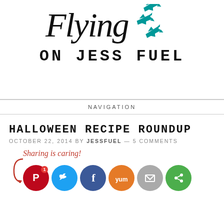Flying on Jess Fuel
NAVIGATION
HALLOWEEN RECIPE ROUNDUP
OCTOBER 22, 2014 BY JESSFUEL — 5 COMMENTS
[Figure (illustration): Social sharing buttons with 'Sharing is caring!' text and arrow, Pinterest, Twitter, Facebook, Yummly, Email, and other share icons]